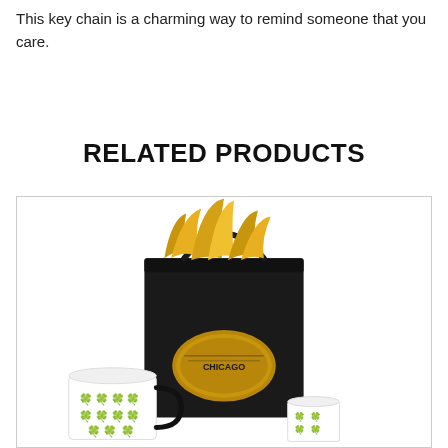This key chain is a charming way to remind someone that you care.
RELATED PRODUCTS
[Figure (photo): A black gift shopping bag with a Chicago logo medallion and gold tissue paper sticking out the top, displayed alongside two white mugs decorated with green shamrock patterns.]